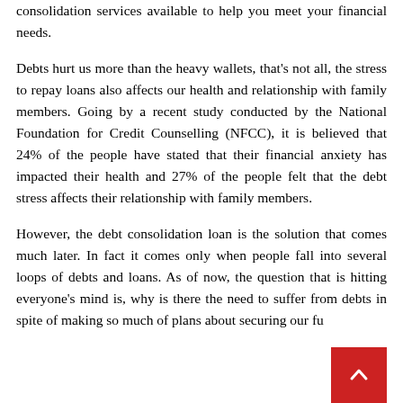consolidation services available to help you meet your financial needs.
Debts hurt us more than the heavy wallets, that's not all, the stress to repay loans also affects our health and relationship with family members. Going by a recent study conducted by the National Foundation for Credit Counselling (NFCC), it is believed that 24% of the people have stated that their financial anxiety has impacted their health and 27% of the people felt that the debt stress affects their relationship with family members.
However, the debt consolidation loan is the solution that comes much later. In fact it comes only when people fall into several loops of debts and loans. As of now, the question that is hitting everyone's mind is, why is there the need to suffer from debts in spite of making so much of plans about securing our fu